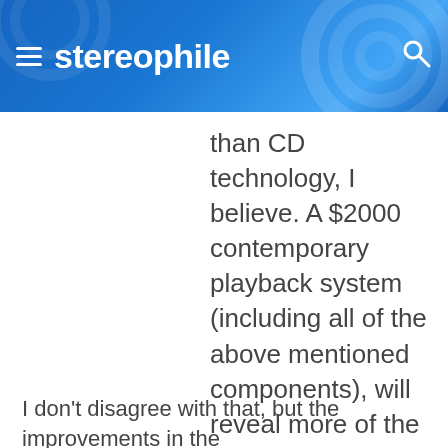stereophile
than CD technology, I believe. A $2000 contemporary playback system (including all of the above mentioned components), will reveal more of the medium than a $10,000 system would have in 1990.
I don't disagree with that, but the improvements in the